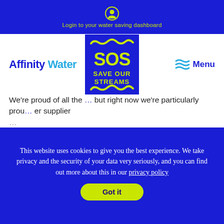[Figure (logo): Person/user icon circle with lime green color]
Login to your water saving dashboard
[Figure (logo): Affinity Water logo in blue and light blue]
[Figure (logo): SOS Save Our Streams badge in lime green text on blue background]
[Figure (logo): Menu icon with wavy lines and Menu text in blue]
We’re proud of all the … but right now we’re particularly prou… er supplier …
This website uses cookies to give you the best experience. We take privacy and the security of your data very seriously, and you can find out more about this in our privacy policy
Got it